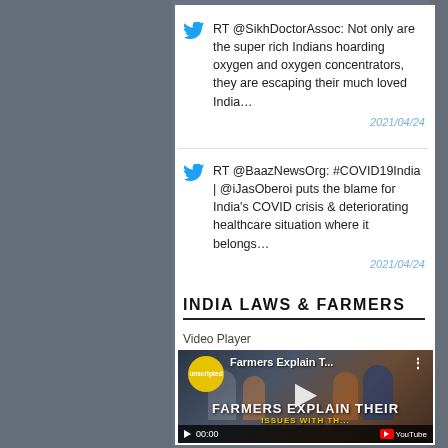RT @SikhDoctorAssoc: Not only are the super rich Indians hoarding oxygen and oxygen concentrators, they are escaping their much loved India…
2021/04/24
RT @BaazNewsOrg: #COVID19India | @iJasOberoi puts the blame for India's COVID crisis & deteriorating healthcare situation where it belongs…
2021/04/24
INDIA LAWS & FARMERS
Video Player
[Figure (screenshot): YouTube video player thumbnail showing Sikh farmers in traditional dress with title 'Farmers Explain T...' and overlay text 'FARMERS EXPLAIN THEIR ISSUES WITH TH...' with unscripted channel badge, play button, and 00:00 timestamp]